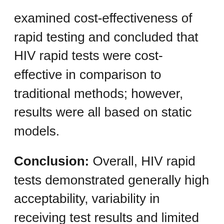examined cost-effectiveness of rapid testing and concluded that HIV rapid tests were cost-effective in comparison to traditional methods; however, results were all based on static models.
Conclusion: Overall, HIV rapid tests demonstrated generally high acceptability, variability in receiving test results and limited impact on linkage to care. While these findings suggest that HIV rapid tests may be useful, further research is needed to confirm in whom, when and where they are best used and how to ensure better linkage to care.